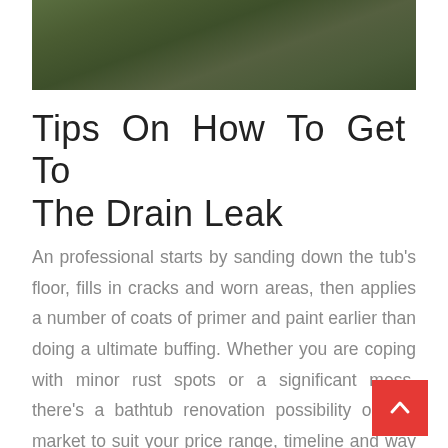[Figure (photo): Top portion of an outdoor grassy/ground surface photo, dark green tone]
Tips On How To Get To The Drain Leak
An professional starts by sanding down the tub's floor, fills in cracks and worn areas, then applies a number of coats of primer and paint earlier than doing a ultimate buffing. Whether you are coping with minor rust spots or a significant mess, there's a bathtub renovation possibility on the market to suit your price range, timeline and way of life. We're breaking down three of the most well-